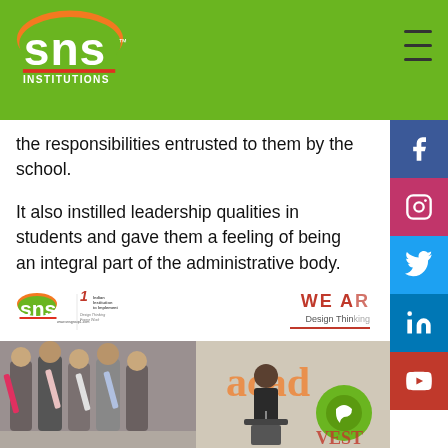[Figure (logo): SNS Institutions logo on green header bar]
the responsibilities entrusted to them by the school.
It also instilled leadership qualities in students and gave them a feeling of being an integral part of the administrative body.
[Figure (photo): SNS Institutions branding strip with logo and 'WE ARE' text with Design Thinking tagline]
[Figure (photo): Two photos: left shows students with sashes at an event; right shows a woman speaking at a podium with colorful academy branding in background]